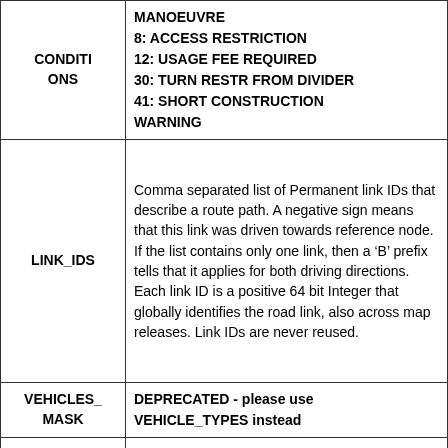| Field | Description |
| --- | --- |
| CONDITI... | MANOEUVRE
8: ACCESS RESTRICTION
12: USAGE FEE REQUIRED
30: TURN RESTR FROM DIVIDER
41: SHORT CONSTRUCTION WARNING |
| LINK_IDS | Comma separated list of Permanent link IDs that describe a route path. A negative sign means that this link was driven towards reference node. If the list contains only one link, then a 'B' prefix tells that it applies for both driving directions. Each link ID is a positive 64 bit Integer that globally identifies the road link, also across map releases. Link IDs are never reused. |
| VEHICLES_MASK | DEPRECATED - please use VEHICLE_TYPES instead |
| VEHICLE_TYPES | Access Characteristics identify the vehicle types that are allowed on a link, allowed on a lane or to which a condition applies.
16 bit bitmask of affected vehicle types or
Sum of: Automobiles (1)... |